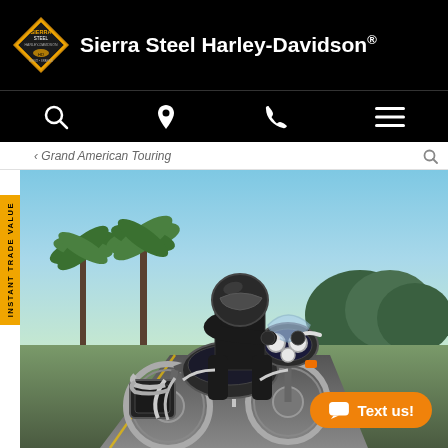Sierra Steel Harley-Davidson®
Grand American Touring
[Figure (photo): A rider in black gear and helmet riding a large Harley-Davidson touring motorcycle on a road, with palm trees and blue sky in the background. Chrome accents and orange turn signals visible on the bike.]
INSTANT TRADE VALUE
Text us!